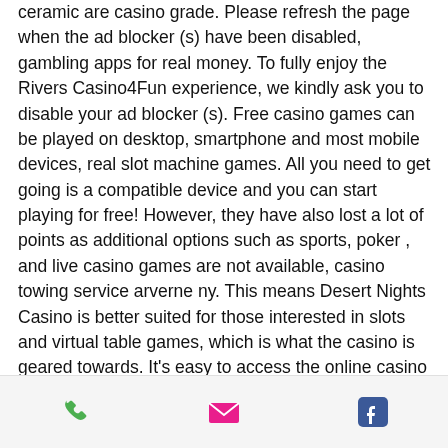ceramic are casino grade. Please refresh the page when the ad blocker (s) have been disabled, gambling apps for real money. To fully enjoy the Rivers Casino4Fun experience, we kindly ask you to disable your ad blocker (s). Free casino games can be played on desktop, smartphone and most mobile devices, real slot machine games. All you need to get going is a compatible device and you can start playing for free! However, they have also lost a lot of points as additional options such as sports, poker , and live casino games are not available, casino towing service arverne ny. This means Desert Nights Casino is better suited for those interested in slots and virtual table games, which is what the casino is geared towards. It's easy to access the online casino coupon codes. Once you sign up for a casino account you've find your coupons
[Figure (infographic): Footer bar with three icons: phone (green), email/envelope (pink/red), and Facebook logo (blue)]